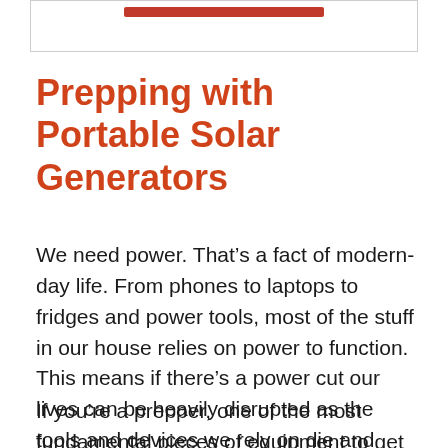Prepping with Portable Solar Generators
We need power. That’s a fact of modern-day life. From phones to laptops to fridges and power tools, most of the stuff in our house relies on power to function. This means if there’s a power cut our lives can be heavily disrupted as the tools and devices we rely on die and won’t turn back on.
If you’re a prepper, one of the most fundamental pieces of equipment to get is a generator. Most people tend to think of generators as loud, diesel